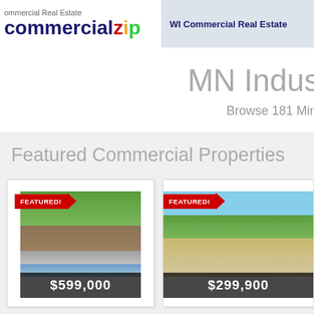commercial Real Estate
[Figure (logo): commercialzip logo with colored letters z(red), i(orange), p(green)]
WI Commercial Real Estate
MN Indus
Browse 181 Min
Featured Commercial Properties
[Figure (photo): Featured property photo showing log cabin building with trees, price $599,000]
[Figure (photo): Featured property photo showing wooded lot with trees, price $299,900]